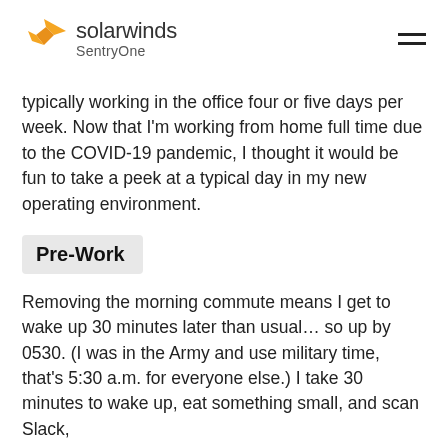solarwinds SentryOne
typically working in the office four or five days per week. Now that I'm working from home full time due to the COVID-19 pandemic, I thought it would be fun to take a peek at a typical day in my new operating environment.
Pre-Work
Removing the morning commute means I get to wake up 30 minutes later than usual… so up by 0530. (I was in the Army and use military time, that's 5:30 a.m. for everyone else.) I take 30 minutes to wake up, eat something small, and scan Slack, Teams, Outlook, and tickets. Then the...